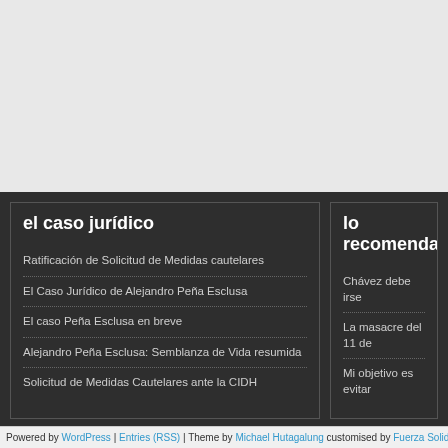[Figure (screenshot): Gray background area at top of page (website header region, empty/cropped)]
el caso jurídico
Ratificación de Solicitud de Medidas cautelares
El Caso Jurídico de Alejandro Peña Esclusa
El caso Peña Esclusa en breve
Alejandro Peña Esclusa: Semblanza de Vida resumida
Solicitud de Medidas Cautelares ante la CIDH
lo recomendad…
Chávez debe irse
La masacre del 11 de…
Mi objetivo es evitar…
Powered by WordPress | Entries (RSS) | Theme by Michael Hutagalung customised by Fuerza Solidaria A…